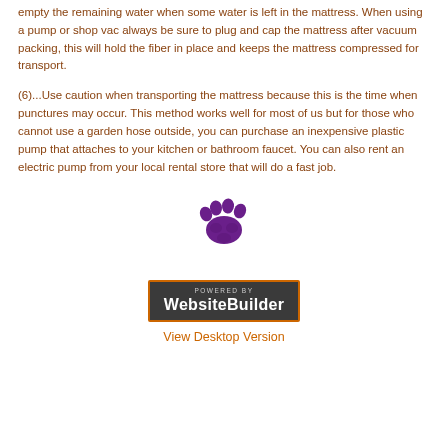empty the remaining water when some water is left in the mattress. When using a pump or shop vac always be sure to plug and cap the mattress after vacuum packing, this will hold the fiber in place and keeps the mattress compressed for transport.
(6)...Use caution when transporting the mattress because this is the time when punctures may occur. This method works well for most of us but for those who cannot use a garden hose outside, you can purchase an inexpensive plastic pump that attaches to your kitchen or bathroom faucet. You can also rent an electric pump from your local rental store that will do a fast job.
[Figure (illustration): Purple paw print icon]
[Figure (logo): Powered by WebsiteBuilder badge with orange border on dark background]
View Desktop Version